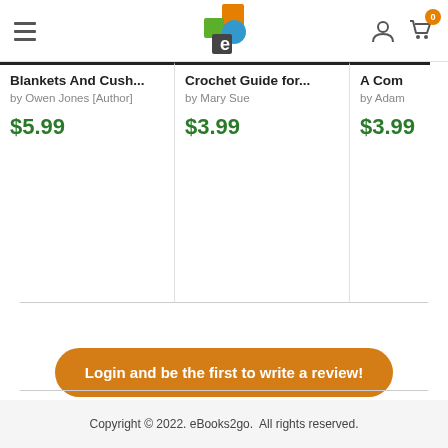[Figure (screenshot): Website header navigation bar with hamburger menu icon, eBooks2go logo, user icon, and shopping cart icon with badge showing 0]
Blankets And Cush...
by Owen Jones [Author]
$5.99
Crochet Guide for...
by Mary Sue
$3.99
A Com
by Adam
$3.99
Login and be the first to write a review!
Copyright © 2022. eBooks2go.  All rights reserved.